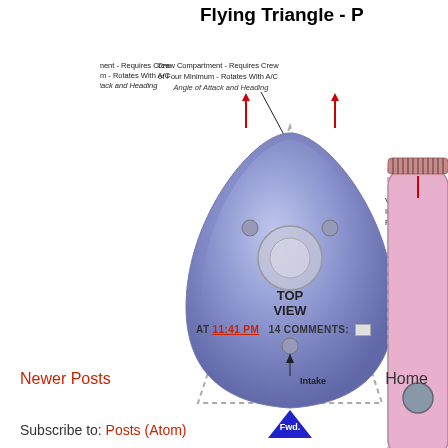Flying Triangle - [cropped]
[Figure (illustration): Technical diagram of a flying triangle aircraft shown from top view. The triangular craft is shown in blue-purple color with dashed border outline. Labels point to: 'Crew Compartment - Requires Crew of Four Minimum - Rotates With A/C Angle of Attack and Heading' at top center; red up arrows at top-left and top-right; 'Intake' label at bottom with upward arrow; 'TOP VIEW' text in center; 'Fwd.' blue triangle marker at bottom pointing down; 'Variable Ve... Intakes W... Pointed For...' label at right side (partially cropped).]
AT 11:41 PM   14 COMMENTS:
Newer Posts
Home
Subscribe to: Posts (Atom)